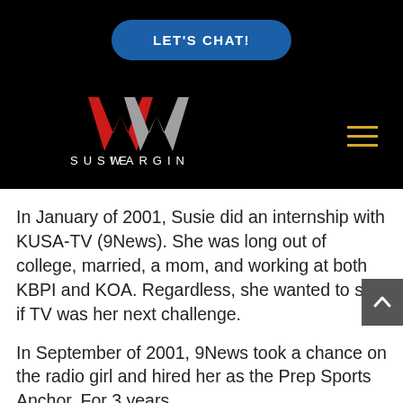[Figure (logo): Susie Wargin website header with blue 'LET'S CHAT!' button, red and silver W logo, 'SUSIE WARGIN' text in white, and yellow hamburger menu icon on black background]
In January of 2001, Susie did an internship with KUSA-TV (9News). She was long out of college, married, a mom, and working at both KBPI and KOA. Regardless, she wanted to see if TV was her next challenge.
In September of 2001, 9News took a chance on the radio girl and hired her as the Prep Sports Anchor. For 3 years,